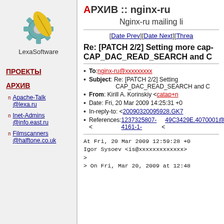[Figure (logo): LexaSoftware logo: gear with feather, text LexaSoftware below]
ПРОЕКТЫ
АРХИВ
Apache-Talk @lexa.ru
Inet-Admins @info.east.ru
Filmscanners @halftone.co.uk
АРХИВ :: nginx-ru
Nginx-ru mailing li
[Date Prev][Date Next][Threa
Re: [PATCH 2/2] Setting more cap- CAP_DAC_READ_SEARCH and C
To: nginx-ru@xxxxxxxxx
Subject: Re: [PATCH 2/2] Setting CAP_DAC_READ_SEARCH and C
From: Kirill A. Korinskiy <catap+n
Date: Fri, 20 Mar 2009 14:25:31 +0
In-reply-to: <20090320095928.GK7
References: <1237325807-4161-1- <49C3429E.4070001@xxxxxxxxxx> <200903201248.02401.andrei.nigm <20090320095928.GK72589@xxx
At Fri, 20 Mar 2009 12:59:28 +0
Igor Sysoev <is@xxxxxxxxxxxxx>
>
> On Fri, Mar 20, 2009 at 12:48